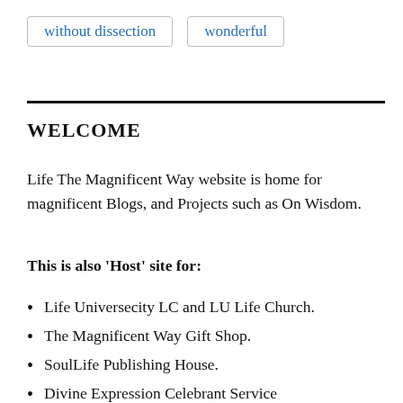without dissection
wonderful
WELCOME
Life The Magnificent Way website is home for magnificent Blogs, and Projects such as On Wisdom.
This is also ‘Host’ site for:
Life Universecity LC and LU Life Church.
The Magnificent Way Gift Shop.
SoulLife Publishing House.
Divine Expression Celebrant Service